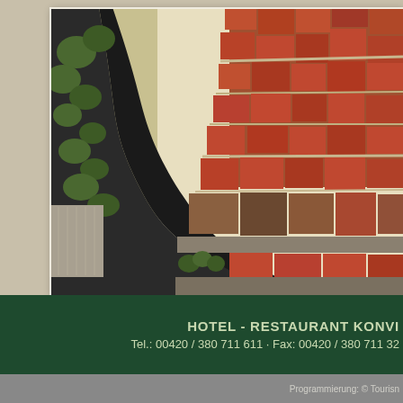[Figure (photo): Aerial view of a Central European old town with a river curving around red-roofed buildings and streets]
HOTEL - RESTAURANT KONVI
Tel.: 00420 / 380 711 611 · Fax: 00420 / 380 711 32
Programmierung: © Tourisn